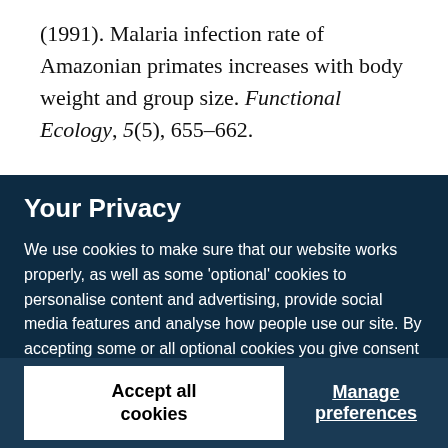(1991). Malaria infection rate of Amazonian primates increases with body weight and group size. Functional Ecology, 5(5), 655–662.
Your Privacy
We use cookies to make sure that our website works properly, as well as some 'optional' cookies to personalise content and advertising, provide social media features and analyse how people use our site. By accepting some or all optional cookies you give consent to the processing of your personal data, including transfer to third parties, some in countries outside of the European Economic Area that do not offer the same data protection standards as the country where you live. You can decide which optional cookies to accept by clicking on 'Manage Settings', where you can also find more information about how your personal data is processed. Further information can be found in our privacy policy.
Accept all cookies
Manage preferences